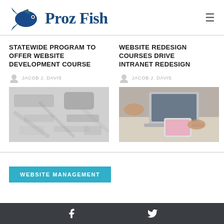[Figure (logo): Proz Fish logo with blue/teal fish icon and bold serif text 'Proz Fish']
STATEWIDE PROGRAM TO OFFER WEBSITE DEVELOPMENT COURSE
JACOB J. DAVIS
[Figure (photo): Blurred/redacted image placeholder]
WEBSITE REDESIGN COURSES DRIVE INTRANET REDESIGN
JACOB J. DAVIS
[Figure (photo): Hands using laptop and touchscreen devices on a desk]
WEBSITE MANAGEMENT
Facebook | Twitter social icons